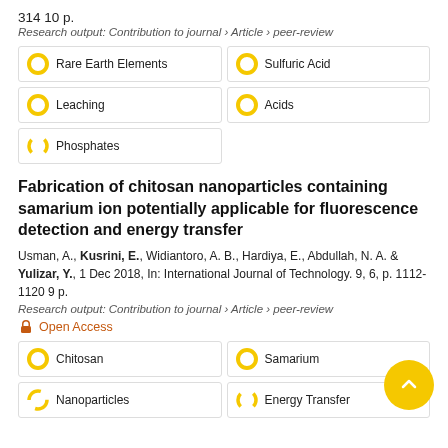314 10 p.
Research output: Contribution to journal › Article › peer-review
Rare Earth Elements
Sulfuric Acid
Leaching
Acids
Phosphates
Fabrication of chitosan nanoparticles containing samarium ion potentially applicable for fluorescence detection and energy transfer
Usman, A., Kusrini, E., Widiantoro, A. B., Hardiya, E., Abdullah, N. A. & Yulizar, Y., 1 Dec 2018, In: International Journal of Technology. 9, 6, p. 1112-1120 9 p.
Research output: Contribution to journal › Article › peer-review
Open Access
Chitosan
Samarium
Nanoparticles
Energy Transfer